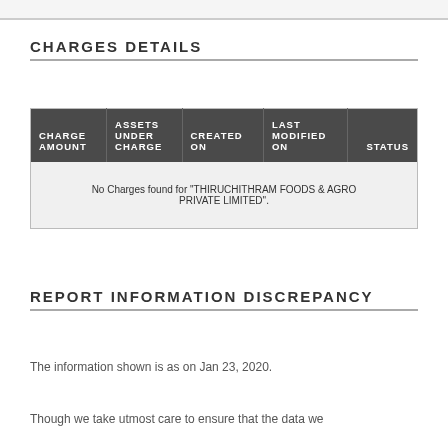CHARGES DETAILS
| CHARGE AMOUNT | ASSETS UNDER CHARGE | CREATED ON | LAST MODIFIED ON | STATUS |
| --- | --- | --- | --- | --- |
| No Charges found for "THIRUCHITHRAM FOODS & AGRO PRIVATE LIMITED". |
REPORT INFORMATION DISCREPANCY
The information shown is as on Jan 23, 2020.
Though we take utmost care to ensure that the data we